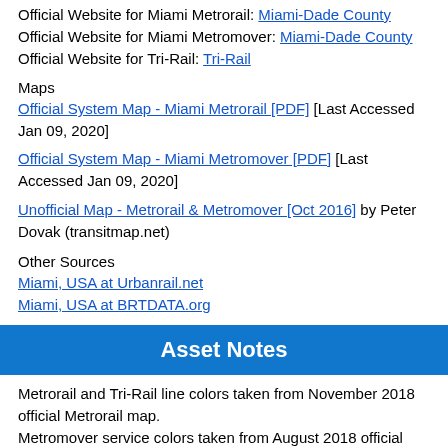Official Website for Miami Metrorail: Miami-Dade County
Official Website for Miami Metromover: Miami-Dade County
Official Website for Tri-Rail: Tri-Rail
Maps
Official System Map - Miami Metrorail [PDF] [Last Accessed Jan 09, 2020]
Official System Map - Miami Metromover [PDF] [Last Accessed Jan 09, 2020]
Unofficial Map - Metrorail & Metromover [Oct 2016] by Peter Dovak (transitmap.net)
Other Sources
Miami, USA at Urbanrail.net
Miami, USA at BRTDATA.org
Asset Notes
Metrorail and Tri-Rail line colors taken from November 2018 official Metrorail map.
Metromover service colors taken from August 2018 official Metromover map.